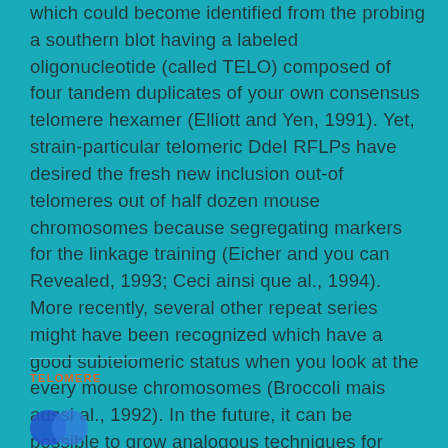which could become identified from the probing a southern blot having a labeled oligonucleotide (called TELO) composed of four tandem duplicates of your own consensus telomere hexamer (Elliott and Yen, 1991). Yet, strain-particular telomeric DdeI RFLPs have desired the fresh new inclusion out-of telomeres out of half dozen mouse chromosomes because segregating markers for the linkage training (Eicher and you can Revealed, 1993; Ceci ainsi que al., 1994). More recently, several other repeat series might have been recognized which have a good subtelomeric status when you look at the every mouse chromosomes (Broccoli mais aussi al., 1992). In the future, it can be possible to grow analogous techniques for mapping telomeres with this specific subtelomeric recite also.
TELOMERE